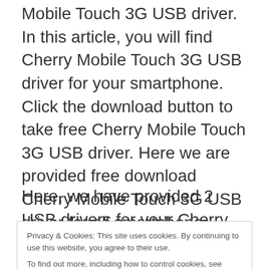Mobile Touch 3G USB driver. In this article, you will find Cherry Mobile Touch 3G USB driver for your smartphone. Click the download button to take free Cherry Mobile Touch 3G USB driver. Here we are provided free download Cherry Mobile Touch 3G USB driver for all smartphone. Follow the step-by-step guide to installing the USB driver on your PC or Laptop. Once you have installed Cherry Mobile Touch 3G driver successfully then you can easily connect your smartphone to your PC.
Here, we have provided 2 USB drivers for your Cherry Mobile Touch 3G Android device on this page.
Privacy & Cookies: This site uses cookies. By continuing to use this website, you agree to their use. To find out more, including how to control cookies, see here: Cookie Policy
Close and accept
| USB Driver Type | ADB Driver |
| --- | --- |